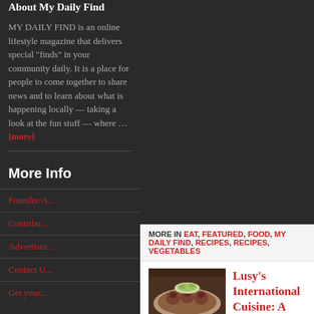About My Daily Find
MY DAILY FIND is an online lifestyle magazine that delivers special "finds" in your community daily. It is a place for people to come together to share news and to learn about what is happening locally — taking a look at the fun stuff — where … [more]
More Info
Founder/...
Contribu...
Advertisin...
Contact U...
Get your...
MORE IN EAT, FEATURED, FOOD, MY DAILY FIND, RECIPES, RECIPES, VEGETABLES
Lusy's International Cuisine: A Quaint Mediterranean Love Affair in a Strip Mall
[Figure (photo): Thumbnail photo of Mediterranean food dish]
BY KAREN YOUNG I've said it before and I'll say it again—some of the best food in the San Fernando...